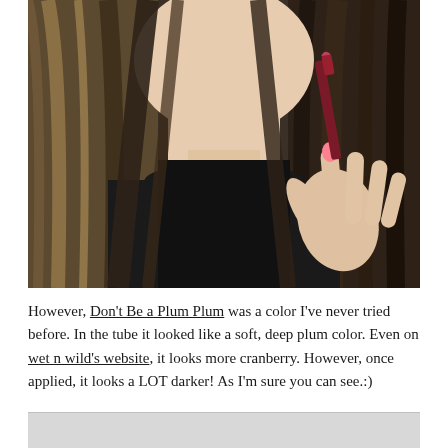[Figure (photo): Close-up photo of a woman with long brown highlighted hair wearing a black turtleneck, holding a dark reddish-brown lipstick tube with her hand showing a pink painted fingernail.]
However, Don't Be a Plum Plum was a color I've never tried before. In the tube it looked like a soft, deep plum color. Even on wet n wild's website, it looks more cranberry. However, once applied, it looks a LOT darker! As I'm sure you can see.:)
[Figure (photo): Partial view of another photo, showing a light gray background at the bottom of the page.]